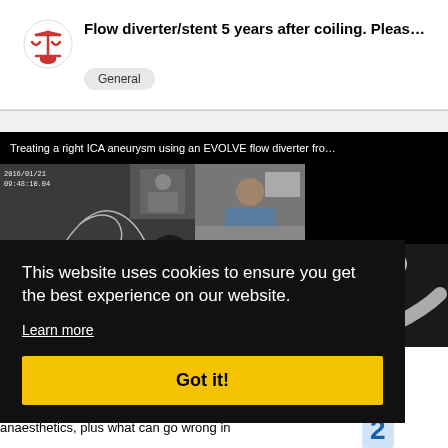Flow diverter/stent 5 years after coiling. Pleas...
General
[Figure (screenshot): Embedded video player showing angiogram and 3D render of right ICA aneurysm with EVOLVE flow diverter, with play button overlay. Title bar reads: Treating a right ICA aneurysm using an EVOLVE flow diverter fro...]
This website uses cookies to ensure you get the best experience on our website.
Learn more
Got it!
r way
ow
nd
anaesthetics, plus what can go wrong in